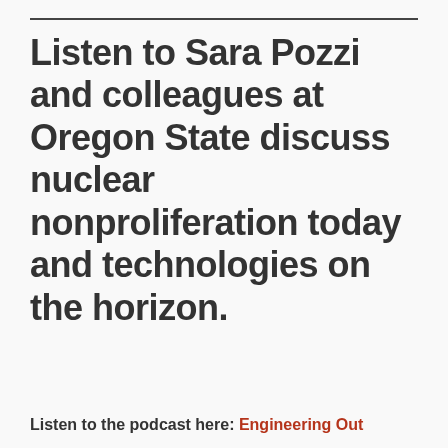Listen to Sara Pozzi and colleagues at Oregon State discuss nuclear nonproliferation today and technologies on the horizon.
Listen to the podcast here: Engineering Out